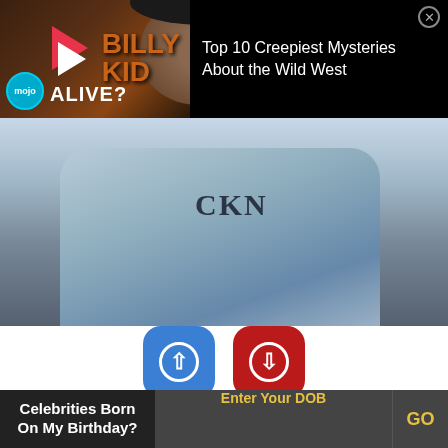[Figure (screenshot): YouTube ad thumbnail: WatchMojo video about Billy the Kid being alive, with mojo logo, play button arrow, and text ALIVE? BILLY KID]
Top 10 Creepiest Mysteries About the Wild West
[Figure (photo): Person wearing a denim jacket with text partially visible, holding something, face partially obscured]
[Figure (infographic): Upvote button (blue, up arrow) with count 110 and downvote button (red, down arrow) with count 79]
Birthdate: January 19, 1992
Birthplace: Pittsburgh, Pennsylvania, United States
Celebrities Born On My Birthday?
Enter Your DOB
GO